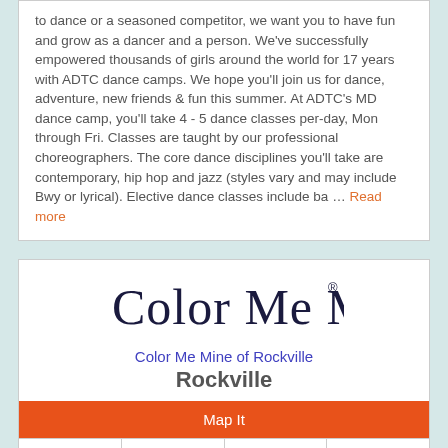to dance or a seasoned competitor, we want you to have fun and grow as a dancer and a person. We've successfully empowered thousands of girls around the world for 17 years with ADTC dance camps. We hope you'll join us for dance, adventure, new friends & fun this summer. At ADTC's MD dance camp, you'll take 4 - 5 dance classes per-day, Mon through Fri. Classes are taught by our professional choreographers. The core dance disciplines you'll take are contemporary, hip hop and jazz (styles vary and may include Bwy or lyrical). Elective dance classes include ba … Read more
[Figure (logo): Color Me Mine script logo with registered trademark symbol]
Color Me Mine of Rockville
Rockville
Map It
| Color Me Mine of Rockville | Email Us | Phone |  |
Looking for a Summer Arts Camp? Color Me Mine in Rockville